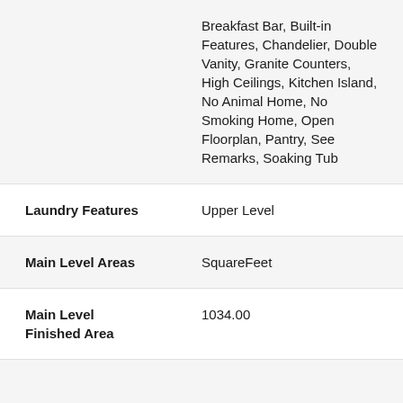| Feature | Value |
| --- | --- |
|  | Breakfast Bar, Built-in Features, Chandelier, Double Vanity, Granite Counters, High Ceilings, Kitchen Island, No Animal Home, No Smoking Home, Open Floorplan, Pantry, See Remarks, Soaking Tub |
| Laundry Features | Upper Level |
| Main Level Areas | SquareFeet |
| Main Level Finished Area | 1034.00 |